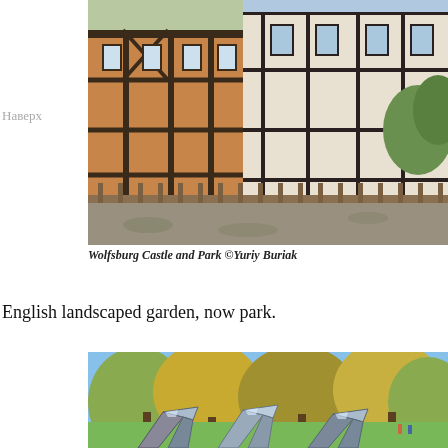Наверх
[Figure (photo): Photo of Wolfsburg Castle and Park showing a half-timbered building facade with wooden fence and trees in autumn, sunlit courtyard with fallen leaves on ground.]
Wolfsburg Castle and Park ©Yuriy Buriak
English landscaped garden, now park.
[Figure (photo): Outdoor photo of a park in autumn showing metallic angular sculptural art installation on green lawn, with autumn-colored trees and blue sky in background.]